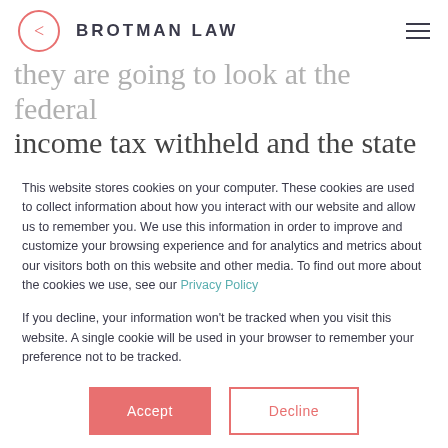BROTMAN LAW
they are going to look at the federal income tax withheld and the state tax withheld on a payroll tax level. Then, the
This website stores cookies on your computer. These cookies are used to collect information about how you interact with our website and allow us to remember you. We use this information in order to improve and customize your browsing experience and for analytics and metrics about our visitors both on this website and other media. To find out more about the cookies we use, see our Privacy Policy
If you decline, your information won't be tracked when you visit this website. A single cookie will be used in your browser to remember your preference not to be tracked.